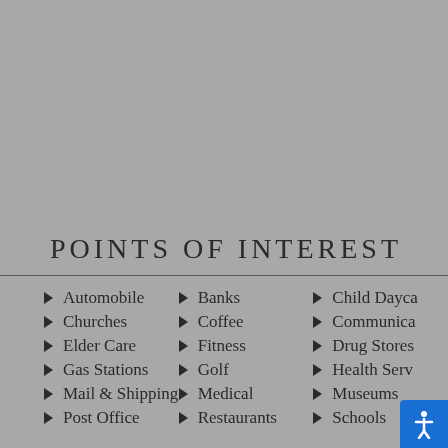POINTS OF INTEREST
Automobile
Churches
Elder Care
Gas Stations
Mail & Shipping
Post Office
Banks
Coffee
Fitness
Golf
Medical
Restaurants
Child Dayca…
Communica…
Drug Stores
Health Serv…
Museums
Schools